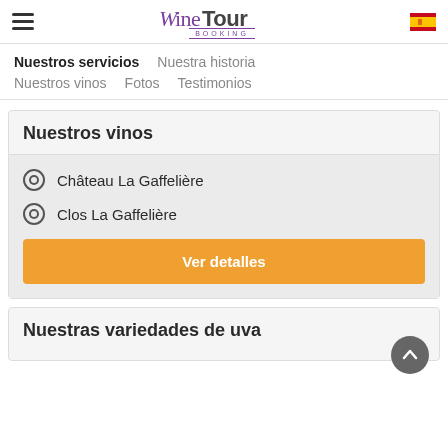Wine Tour Booking — logo header with hamburger menu and Spain flag
Nuestros servicios   Nuestra historia
Nuestros vinos   Fotos   Testimonios
Nuestros vinos
Château La Gaffelière
Clos La Gaffelière
Ver detalles
Nuestras variedades de uva